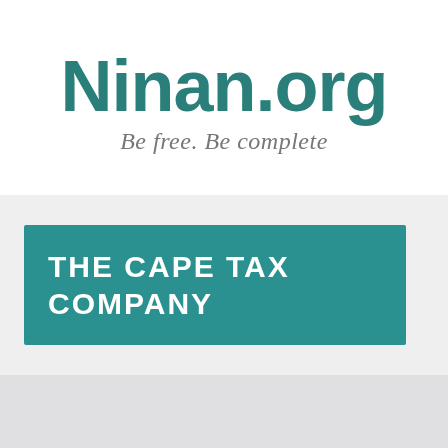Ninan.org
Be free. Be complete
THE CAPE TAX COMPANY